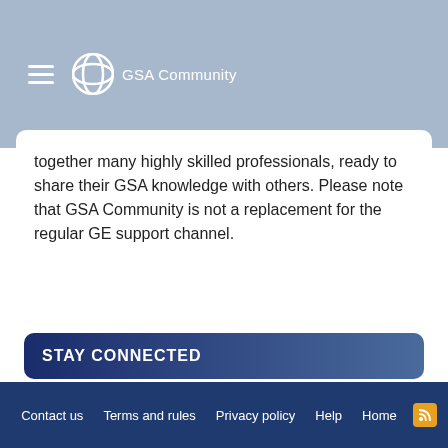GSA Community
together many highly skilled professionals, ready to share their GSA knowledge with others. Please note that GSA Community is not a replacement for the regular GE support channel.
STAY CONNECTED
[Figure (logo): YouTube and LinkedIn social media buttons]
Contact us   Terms and rules   Privacy policy   Help   Home